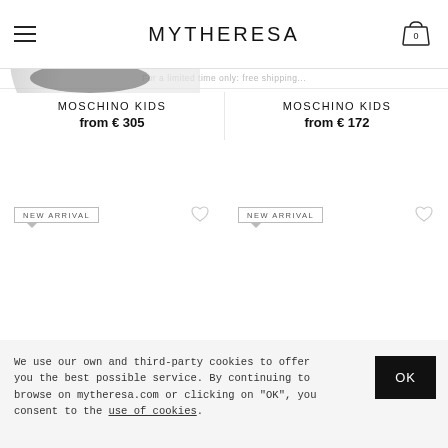MYTHERESA
For a limited time only: free shipping...
[Figure (photo): Partial product image of Moschino Kids item, cropped at top of page]
MOSCHINO KIDS
from € 305
MOSCHINO KIDS
from € 172
NEW ARRIVAL
NEW ARRIVAL
We use our own and third-party cookies to offer you the best possible service. By continuing to browse on mytheresa.com or clicking on "OK", you consent to the use of cookies.